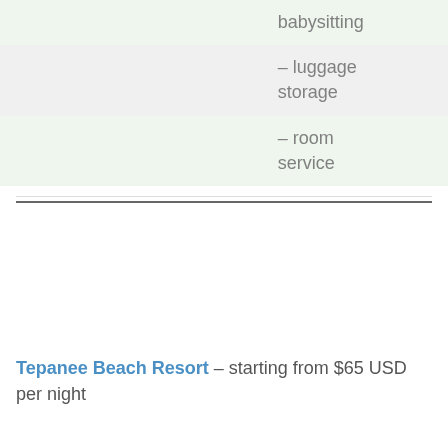– babysitting
– luggage storage
– room service
Tepanee Beach Resort – starting from $65 USD per night